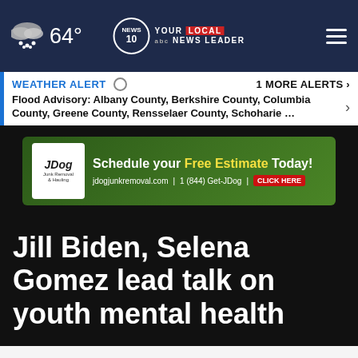64° NEWS 10 YOUR LOCAL NEWS LEADER
WEATHER ALERT  1 MORE ALERTS ❯
Flood Advisory: Albany County, Berkshire County, Columbia County, Greene County, Rensselaer County, Schoharie …
[Figure (screenshot): JDog Junk Removal advertisement: Schedule your Free Estimate Today! jdogjunkremoval.com | 1 (844) Get-JDog | CLICK HERE]
Jill Biden, Selena Gomez lead talk on youth mental health
Posted: May 18, 2022 / 05:08 PM EDT
Updated: May 18, 2022 / 05:08 PM EDT
SHARE
[Figure (screenshot): Bottom advertisement: Get SAVEDBYTHESCAN.ORG | Ad Council | American Lung Association]